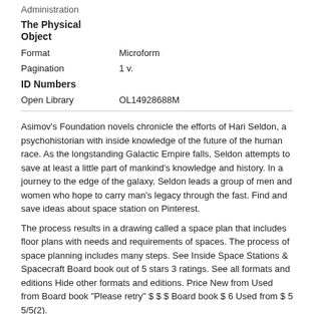Administration
The Physical Object
| Format | Microform |
| Pagination | 1 v. |
ID Numbers
| Open Library | OL14928688M |
Asimov’s Foundation novels chronicle the efforts of Hari Seldon, a psychohistorian with inside knowledge of the future of the human race. As the longstanding Galactic Empire falls, Seldon attempts to save at least a little part of mankind’s knowledge and history. In a journey to the edge of the galaxy, Seldon leads a group of men and women who hope to carry man’s legacy through the fast. Find and save ideas about space station on Pinterest.
The process results in a drawing called a space plan that includes floor plans with needs and requirements of spaces. The process of space planning includes many steps. See Inside Space Stations & Spacecraft Board book out of 5 stars 3 ratings. See all formats and editions Hide other formats and editions. Price New from Used from Board book "Please retry" $ $ $ Board book $ 6 Used from $ 5 5/5(2).